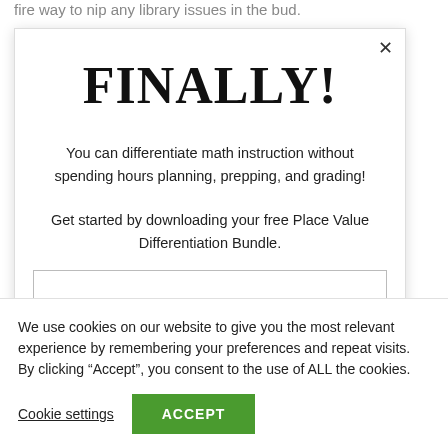fire way to nip any library issues in the bud.
FINALLY!
You can differentiate math instruction without spending hours planning, prepping, and grading!
Get started by downloading your free Place Value Differentiation Bundle.
We use cookies on our website to give you the most relevant experience by remembering your preferences and repeat visits. By clicking “Accept”, you consent to the use of ALL the cookies.
Cookie settings
ACCEPT